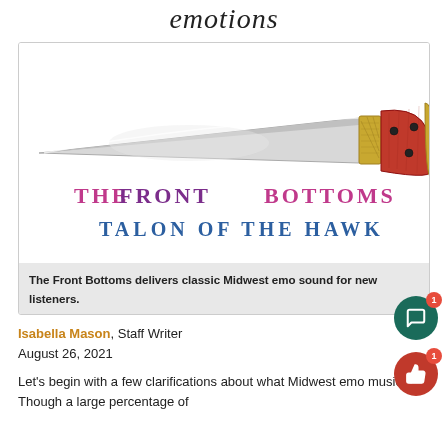emotions
[Figure (illustration): Illustration of a hunting/folding knife with a silver blade and a handle with red wood panels and gold/brass bolsters. Below the knife is hand-lettered text reading 'THE FRONT BOTTOMS' in mixed pink/purple letters and 'TALON OF THE HAWK' in blue letters, resembling album artwork.]
The Front Bottoms delivers classic Midwest emo sound for new listeners.
Isabella Mason, Staff Writer
August 26, 2021
Let's begin with a few clarifications about what Midwest emo music is. Though a large percentage of